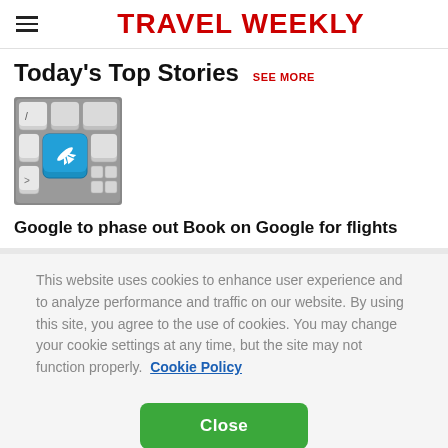TRAVEL WEEKLY
Today's Top Stories SEE MORE
[Figure (photo): Keyboard with a blue airplane/flight key highlighted]
Google to phase out Book on Google for flights
This website uses cookies to enhance user experience and to analyze performance and traffic on our website. By using this site, you agree to the use of cookies. You may change your cookie settings at any time, but the site may not function properly. Cookie Policy
Close